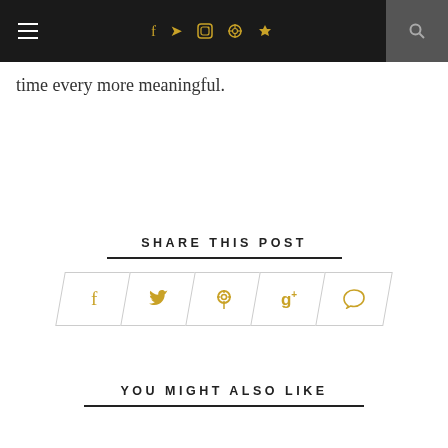Navigation bar with hamburger menu, social icons (f, twitter, instagram, pinterest, heart), and search
time every more meaningful.
SHARE THIS POST
[Figure (other): Row of five parallelogram-shaped social share buttons with gold icons: Facebook (f), Twitter, Pinterest, Google+, Comment]
YOU MIGHT ALSO LIKE